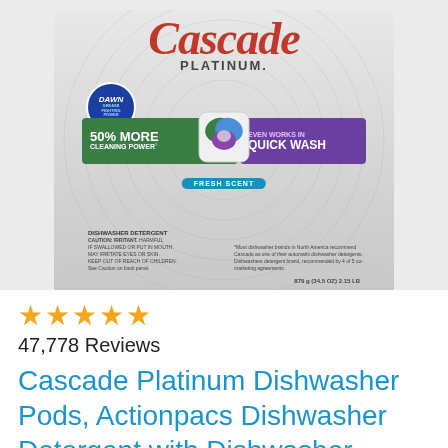[Figure (photo): Cascade Platinum dishwasher pods container showing brand name in red italic script, PLATINUM in gray letters, 50% MORE CLEANING POWER green band on left, EVEN WORKS IN QUICK WASH purple band on right, Dawn grease-fighting badge, colorful pod in center, FRESH SCENT blue badge, caution text and weight 879g (34.5 OZ) 2.15 LB at bottom.]
★★★★★
47,778 Reviews
Cascade Platinum Dishwasher Pods, Actionpacs Dishwasher Detergent with Dishwasher